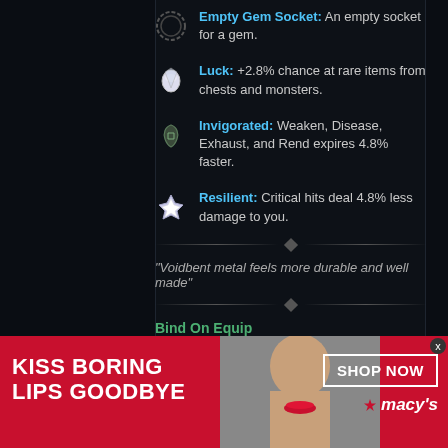Empty Gem Socket: An empty socket for a gem.
Luck: +2.8% chance at rare items from chests and monsters.
Invigorated: Weaken, Disease, Exhaust, and Rend expires 4.8% faster.
Resilient: Critical hits deal 4.8% less damage to you.
"Voidbent metal feels more durable and well made"
Bind On Equip
Named Item
Tier V
2.6 Weight
750 Durability
Can be crafted
[Figure (screenshot): Macy's advertisement banner: 'KISS BORING LIPS GOODBYE' with SHOP NOW button and Macy's star logo, featuring a model with red lipstick]